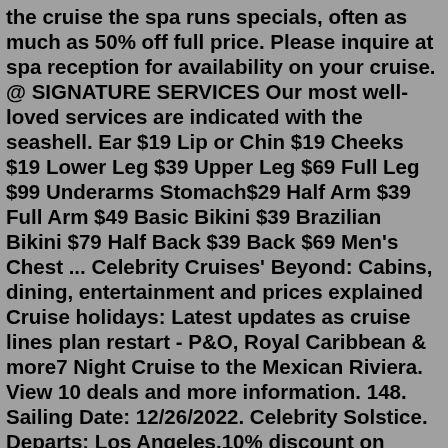the cruise the spa runs specials, often as much as 50% off full price. Please inquire at spa reception for availability on your cruise. @ SIGNATURE SERVICES Our most well-loved services are indicated with the seashell. Ear $19 Lip or Chin $19 Cheeks $19 Lower Leg $39 Upper Leg $69 Full Leg $99 Underarms Stomach$29 Half Arm $39 Full Arm $49 Basic Bikini $39 Brazilian Bikini $79 Half Back $39 Back $69 Men's Chest ... Celebrity Cruises' Beyond: Cabins, dining, entertainment and prices explained Cruise holidays: Latest updates as cruise lines plan restart - P&O, Royal Caribbean & more7 Night Cruise to the Mexican Riviera. View 10 deals and more information. 148. Sailing Date: 12/26/2022. Celebrity Solstice. Departs: Los Angeles.10% discount on shore excursions. 20% discount on photos. 15% discount on spa treatments (while the ship is in port) Gold level is reached from 55-79 points earned on a Norwegian ship. Perks ...Sep 23, 2021 · Celebrity Cruises has revealed a new luxury program of wellness that will be offered aboard Celebrity